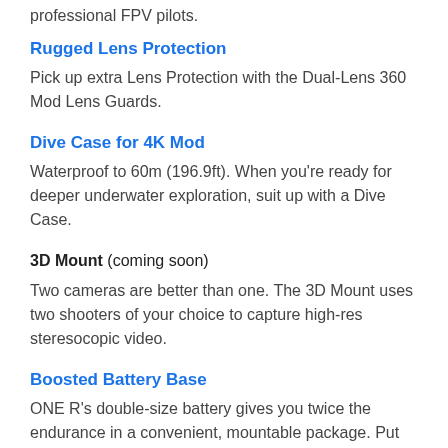professional FPV pilots.
Rugged Lens Protection
Pick up extra Lens Protection with the Dual-Lens 360 Mod Lens Guards.
Dive Case for 4K Mod
Waterproof to 60m (196.9ft). When you're ready for deeper underwater exploration, suit up with a Dive Case.
3D Mount (coming soon)
Two cameras are better than one. The 3D Mount uses two shooters of your choice to capture high-res steresocopic video.
Boosted Battery Base
ONE R's double-size battery gives you twice the endurance in a convenient, mountable package. Put one in your kit for your next long-haul shoot.
Dive Case for 360 Mod